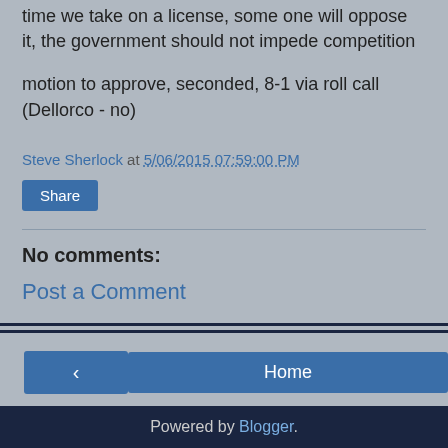time we take on a license, some one will oppose it, the government should not impede competition
motion to approve, seconded, 8-1 via roll call (Dellorco - no)
Steve Sherlock at 5/06/2015 07:59:00 PM
Share
No comments:
Post a Comment
Home | < | >
View web version
Powered by Blogger.